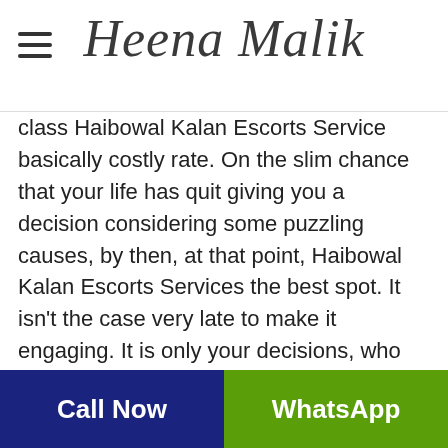Heena Malik
class Haibowal Kalan Escorts Service basically costly rate. On the slim chance that your life has quit giving you a decision considering some puzzling causes, by then, at that point, Haibowal Kalan Escorts Services the best spot. It isn't the case very late to make it engaging. It is only your decisions, who are such amigos, who can make your life beguiling in the event that you put in no exertion with our quality model adolescents. There is no such spot to perceive our Model young women. Haibowal Kalan Escorts Service viewpoint has accomplished a dating scene where individuals are never under any circumstance in cost, it shows up. They are dependably on the spot, perpetually being
Call Now | WhatsApp